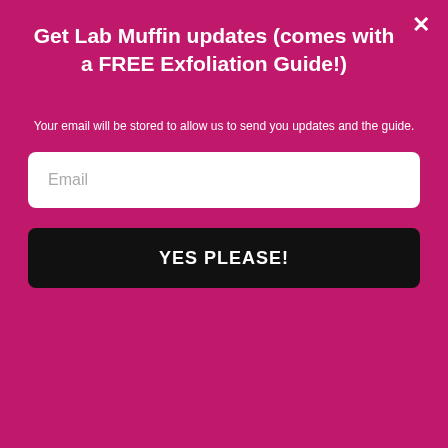Get Lab Muffin updates (comes with a FREE Exfoliation Guide!)
Your email will be stored to allow us to send you updates and the guide.
Email
YES PLEASE!
nothing wrong with avoiding certain ingredients. There are a whole bunch I personally avoid. It’s really the “this ingredient is CARCINOGENIC and everyone should avoid even if you haven’t personally noticed any problems (even though there isn’t any evidence that it’s actually carcinogenic)” line of thinking that really irritates me about the “nasties”-based marketing.
SHE CAN STEM   Learn More